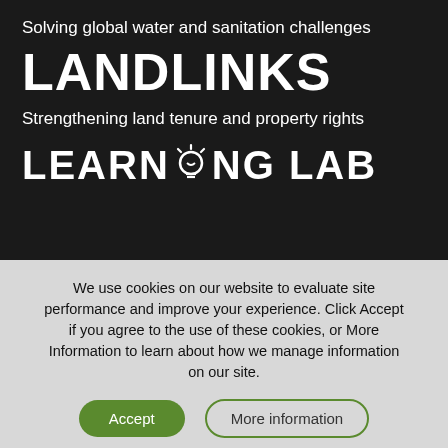Solving global water and sanitation challenges
LANDLINKS
Strengthening land tenure and property rights
LEARNING LAB
We use cookies on our website to evaluate site performance and improve your experience. Click Accept if you agree to the use of these cookies, or More Information to learn about how we manage information on our site.
Accept
More information